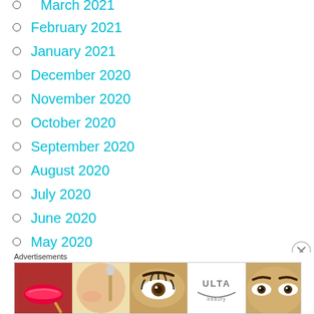March 2021
February 2021
January 2021
December 2020
November 2020
October 2020
September 2020
August 2020
July 2020
June 2020
May 2020
February 2020
January 2020
[Figure (other): Ulta Beauty advertisement banner with makeup/beauty images and SHOP NOW text]